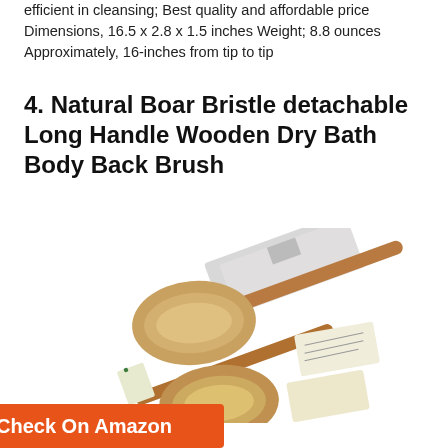efficient in cleansing; Best quality and affordable price Dimensions, 16.5 x 2.8 x 1.5 inches Weight; 8.8 ounces Approximately, 16-inches from tip to tip
4. Natural Boar Bristle detachable Long Handle Wooden Dry Bath Body Back Brush
[Figure (photo): Two wooden bath body back brushes with natural boar bristles and long detachable handles, shown with product packaging box and information tags.]
Check On Amazon